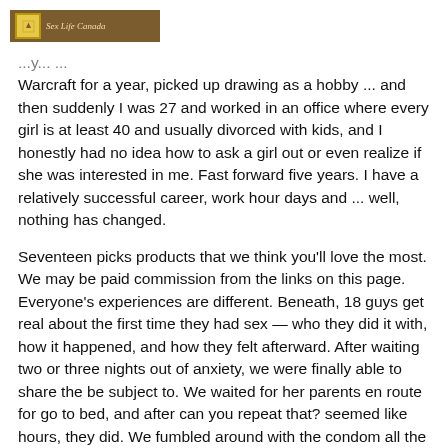Sex Life Canada
Warcraft for a year, picked up drawing as a hobby ... and then suddenly I was 27 and worked in an office where every girl is at least 40 and usually divorced with kids, and I honestly had no idea how to ask a girl out or even realize if she was interested in me. Fast forward five years. I have a relatively successful career, work hour days and ... well, nothing has changed.
Seventeen picks products that we think you'll love the most. We may be paid commission from the links on this page. Everyone's experiences are different. Beneath, 18 guys get real about the first time they had sex — who they did it with, how it happened, and how they felt afterward. After waiting two or three nights out of anxiety, we were finally able to share the be subject to. We waited for her parents en route for go to bed, and after can you repeat that? seemed like hours, they did. We fumbled around with the condom all the